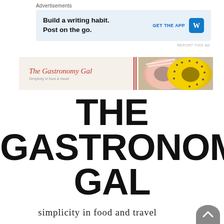Advertisements
[Figure (screenshot): WordPress advertisement banner: 'Build a writing habit. Post on the go.' with GET THE APP button and WordPress logo on light blue background]
REPORT THIS AD
[Figure (photo): The Gastronomy Gal blog banner with script logo on cream background and two donuts (pink glazed and yellow) on the right side]
THE GASTRONOMY GAL
simplicity in food and travel